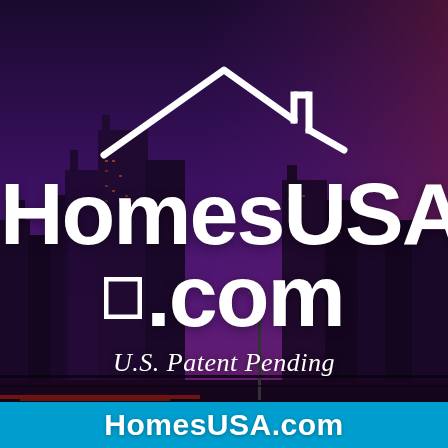[Figure (logo): City skyline at dusk with purple/blue tones, serving as background for the HomesUSA.com logo]
HomesUSA®
.com
U.S. Patent Pending
HomesUSA.com